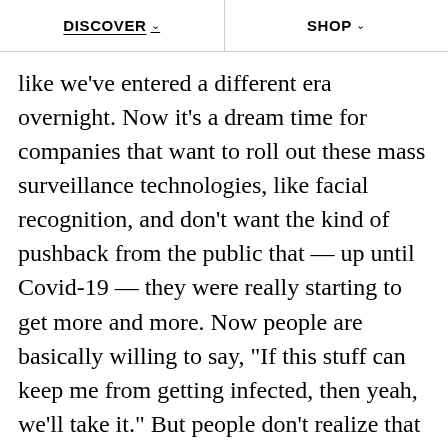DISCOVER   SHOP
like we've entered a different era overnight. Now it's a dream time for companies that want to roll out these mass surveillance technologies, like facial recognition, and don't want the kind of pushback from the public that — up until Covid-19 — they were really starting to get more and more. Now people are basically willing to say, “If this stuff can keep me from getting infected, then yeah, we'll take it.” But people don't realize that once it's installed, it's there for good."